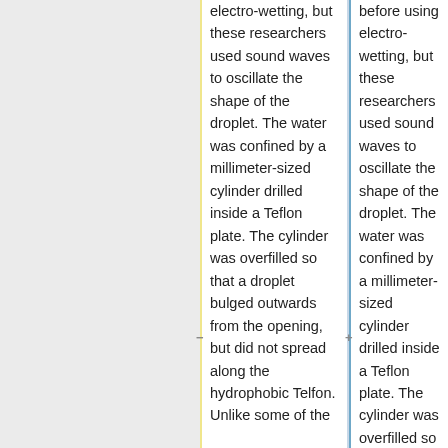electro-wetting, but these researchers used sound waves to oscillate the shape of the droplet. The water was confined by a millimeter-sized cylinder drilled inside a Teflon plate. The cylinder was overfilled so that a droplet bulged outwards from the opening, but did not spread along the hydrophobic Telfon. Unlike some of the
before using electro-wetting, but these researchers used sound waves to oscillate the shape of the droplet. The water was confined by a millimeter-sized cylinder drilled inside a Teflon plate. The cylinder was overfilled so that a droplet bulged outwards from the opening, but did not spread along the hydrophobic Telfon. Unlike